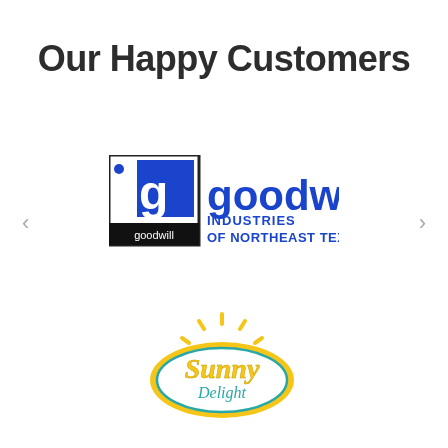Our Happy Customers
[Figure (logo): Goodwill Industries of Northeast Texas, Inc. logo — square logo mark with letter g on blue background with 'goodwill' text below, next to large blue 'goodwill' wordmark followed by 'INDUSTRIES OF NORTHEAST TEXAS, INC.' in blue text]
[Figure (logo): Sunny Delight logo — oval badge with yellow/gold sunburst rays around a teal-outlined oval containing the script text 'Sunny Delight']